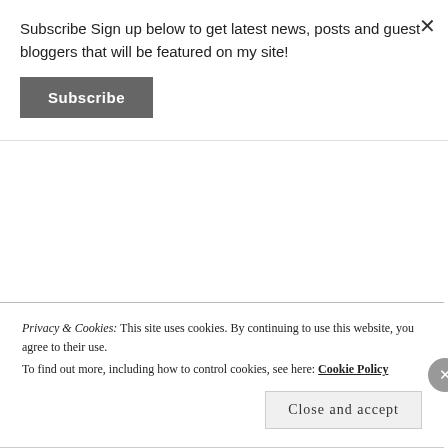Subscribe Sign up below to get latest news, posts and guest bloggers that will be featured on my site!
Subscribe
that await us back in the place we've known and loved. ♥
Koral Dawn is a Social Media and Marketing Strategist who's worked with both agency and corporate companies such as the Department of Defense, Campbell's Soup Company, Greenwald
Privacy & Cookies: This site uses cookies. By continuing to use this website, you agree to their use.
To find out more, including how to control cookies, see here: Cookie Policy
Close and accept